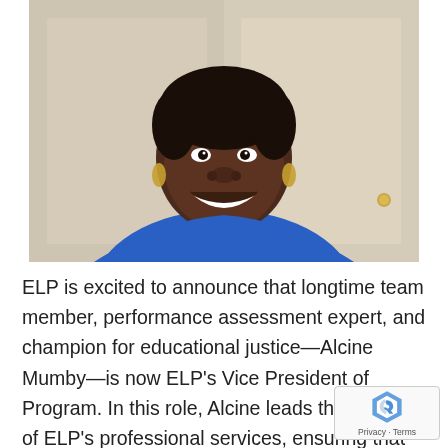[Figure (photo): A smiling Black woman wearing a blue top, photographed from the shoulders up in front of a light-colored closet door background, appears to be in a video call or recording setting.]
ELP is excited to announce that longtime team member, performance assessment expert, and champion for educational justice—Alcine Mumby—is now ELP's Vice President of Program. In this role, Alcine leads the delivery of ELP's professional services, ensuring that client partners and system leaders gain the skills needed to build and sustain high-quality systems of performance assessment. […]